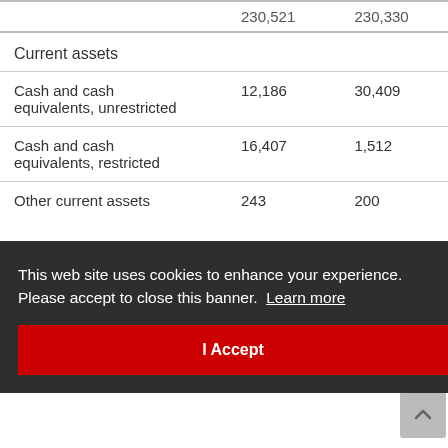|  |  |  |
| --- | --- | --- |
|  | 230,521 | 230,330 |
| Current assets |  |  |
| Cash and cash equivalents, unrestricted | 12,186 | 30,409 |
| Cash and cash equivalents, restricted | 16,407 | 1,512 |
| Other current assets | 243 | 200 |
This web site uses cookies to enhance your experience. Please accept to close this banner.  Learn more
I Accept